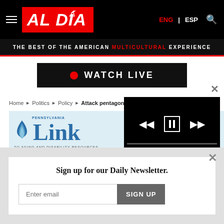AL DÍA — THE BEST OF THE AMERICAN MULTICULTURAL EXPERIENCE
[Figure (screenshot): WATCH LIVE button with red dot icon on dark background]
Home › Politics › Policy › Attack pentagon
[Figure (logo): Pennsylvania Link To Aging and Disability Resources logo]
[Figure (screenshot): Video player with playback controls showing 00:00 / 00:15]
Sign up for our Daily Newsletter.
Enter email